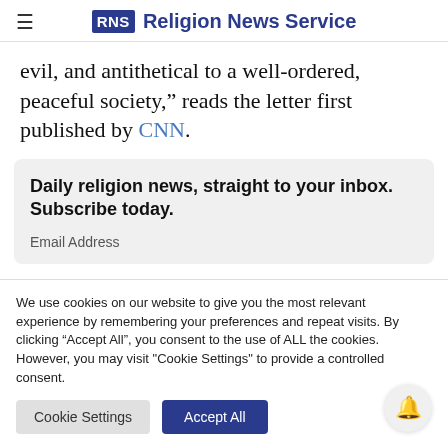RNS Religion News Service
evil, and antithetical to a well-ordered, peaceful society,” reads the letter first published by CNN.
Daily religion news, straight to your inbox. Subscribe today.
Email Address
We use cookies on our website to give you the most relevant experience by remembering your preferences and repeat visits. By clicking “Accept All”, you consent to the use of ALL the cookies. However, you may visit "Cookie Settings" to provide a controlled consent.